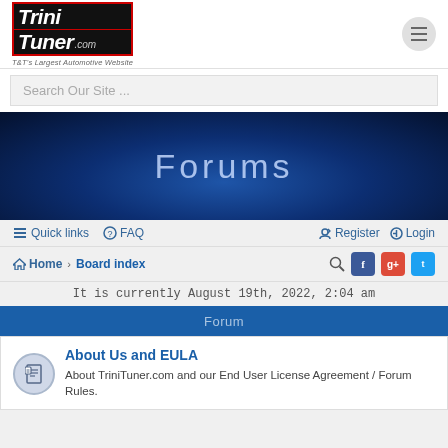[Figure (logo): TriniTuner.com logo with tagline T&T's Largest Automotive Website]
Search Our Site ...
Forums
Quick links  FAQ  Register  Login
Home › Board index
It is currently August 19th, 2022, 2:04 am
Forum
About Us and EULA
About TriniTuner.com and our End User License Agreement / Forum Rules.